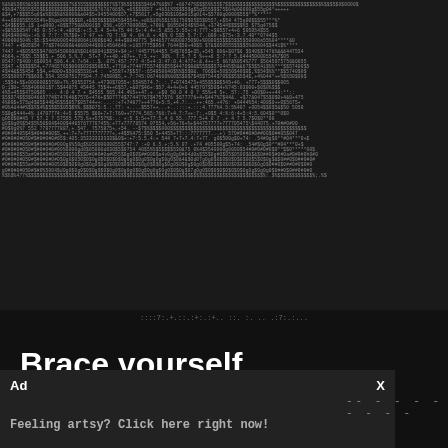[Figure (other): ASCII art image made of numbers, symbols and characters forming a dark pattern/portrait]
::::7:.+.::.:+:.:+.. ::. :. .. .:7:.:...
Brace yourself… Relationship memes incoming!
Ad
X
Feeling artsy? Click here right now!